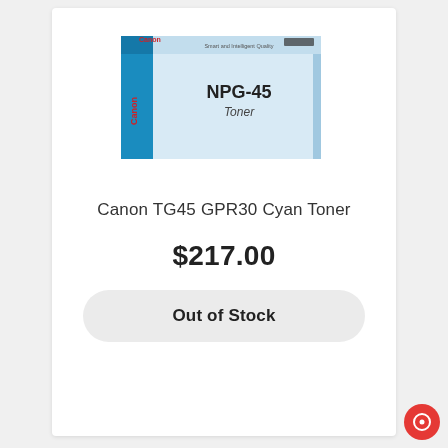[Figure (photo): Canon NPG-45 Cyan Toner box product image]
Canon TG45 GPR30 Cyan Toner
$217.00
Out of Stock